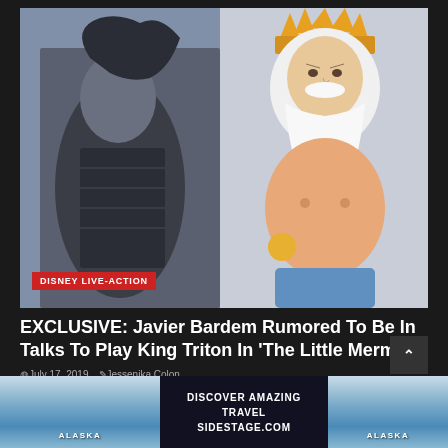[Figure (photo): Hero image showing a dark fantasy character in black armor on the left (live-action) and an animated King Triton character with white beard and gold crown on the right, with a red 'DISNEY LIVE-ACTION' label overlay at bottom left]
EXCLUSIVE: Javier Bardem Rumored To Be In Talks To Play King Triton In 'The Little Mermaid'
July 17, 2019  Jessenika Colon
Only a day after the news of Harry Styles being in talks to play...
[Figure (infographic): Advertisement banner: DISCOVER AMAZING TRAVEL SIDESTAGE.COM with Alaska glacier images on left and right sides]